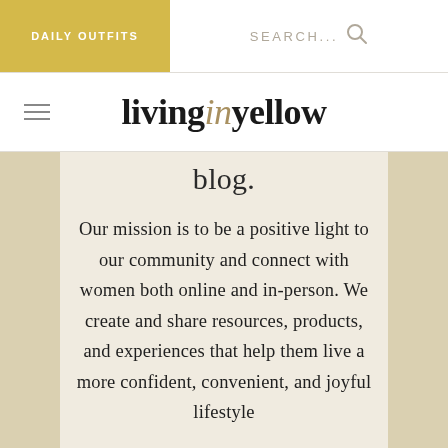DAILY OUTFITS
SEARCH...
livinginyellow
blog.
Our mission is to be a positive light to our community and connect with women both online and in-person. We create and share resources, products, and experiences that help them live a more confident, convenient, and joyful lifestyle